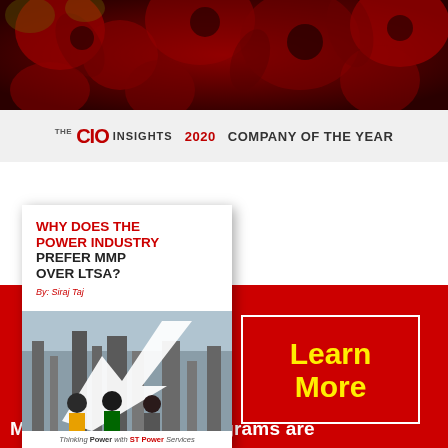[Figure (photo): Red floral/sunflower dark themed banner image at top of page]
[Figure (logo): The CIO Insights 2020 Company of the Year logo on light grey bar]
[Figure (photo): Book cover: Why Does the Power Industry Prefer MMP Over LTSA? by Siraj Taj, with industrial workers image, on red background section]
Learn More
Major Maintenance Programs are